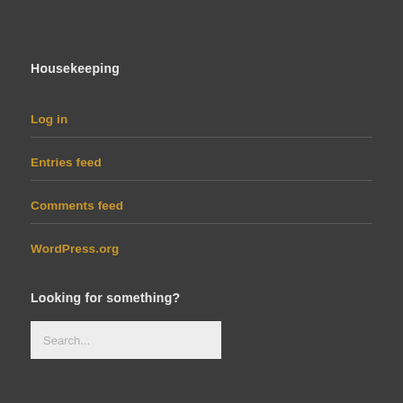Housekeeping
Log in
Entries feed
Comments feed
WordPress.org
Looking for something?
Search...